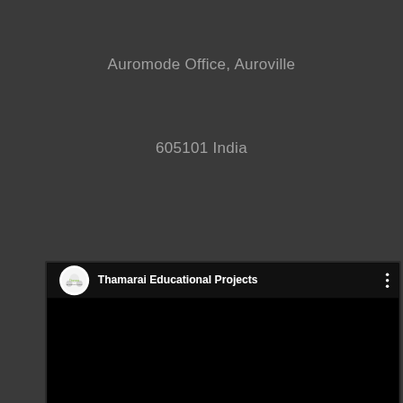Auromode Office, Auroville
605101 India
[Figure (screenshot): Video player showing Thamarai Educational Projects YouTube channel video, paused at 00:00 with total duration 02:57. Black video frame with channel logo and name in header bar.]